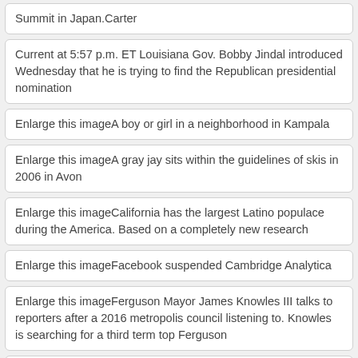Summit in Japan.Carter
Current at 5:57 p.m. ET Louisiana Gov. Bobby Jindal introduced Wednesday that he is trying to find the Republican presidential nomination
Enlarge this imageA boy or girl in a neighborhood in Kampala
Enlarge this imageA gray jay sits within the guidelines of skis in 2006 in Avon
Enlarge this imageCalifornia has the largest Latino populace during the America. Based on a completely new research
Enlarge this imageFacebook suspended Cambridge Analytica
Enlarge this imageFerguson Mayor James Knowles III talks to reporters after a 2016 metropolis council listening to. Knowles is searching for a third term top Ferguson
Enlarge this imagePeople who survived the capsizing of a ferry watch for more info about lacking good friends and kin at a reservoir in Guatape
Enlarge this imagePresident Trump signed an govt purchase authorizing economic sanctions from Iranian Supreme Leader